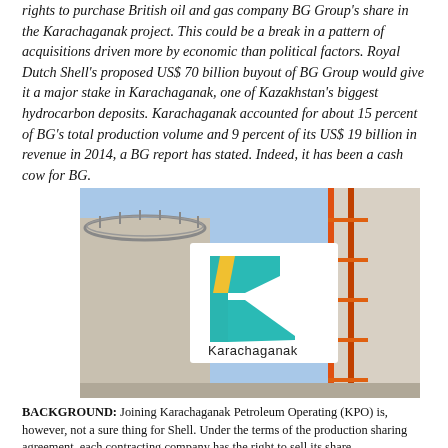rights to purchase British oil and gas company BG Group's share in the Karachaganak project. This could be a break in a pattern of acquisitions driven more by economic than political factors. Royal Dutch Shell's proposed US$ 70 billion buyout of BG Group would give it a major stake in Karachaganak, one of Kazakhstan's biggest hydrocarbon deposits. Karachaganak accounted for about 15 percent of BG's total production volume and 9 percent of its US$ 19 billion in revenue in 2014, a BG report has stated. Indeed, it has been a cash cow for BG.
[Figure (photo): Photograph of a large outdoor sign displaying the Karachaganak logo — a stylized letter K in teal/turquoise with a yellow stripe — on a white rectangular billboard mounted on a building structure with scaffolding visible, against a blue sky.]
BACKGROUND: Joining Karachaganak Petroleum Operating (KPO) is, however, not a sure thing for Shell. Under the terms of the production sharing agreement, each contracting company has the right to sell its share